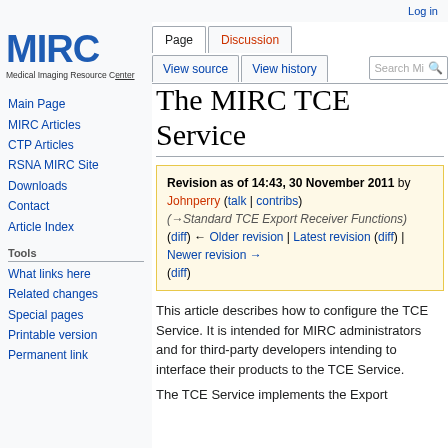Log in
[Figure (logo): MIRC logo - Medical Imaging Resource Center]
Main Page
MIRC Articles
CTP Articles
RSNA MIRC Site
Downloads
Contact
Article Index
Tools
What links here
Related changes
Special pages
Printable version
Permanent link
The MIRC TCE Service
Revision as of 14:43, 30 November 2011 by Johnperry (talk | contribs) (→Standard TCE Export Receiver Functions) (diff) ← Older revision | Latest revision (diff) | Newer revision → (diff)
This article describes how to configure the TCE Service. It is intended for MIRC administrators and for third-party developers intending to interface their products to the TCE Service.
The TCE Service implements the Export